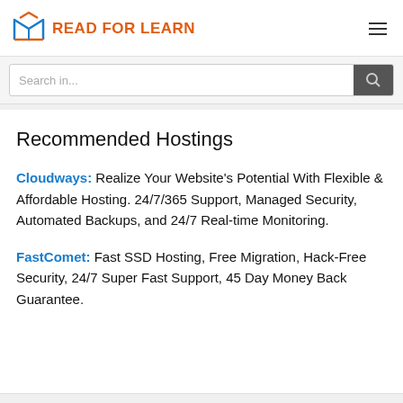READ FOR LEARN
Search in...
Recommended Hostings
Cloudways: Realize Your Website's Potential With Flexible & Affordable Hosting. 24/7/365 Support, Managed Security, Automated Backups, and 24/7 Real-time Monitoring.
FastComet: Fast SSD Hosting, Free Migration, Hack-Free Security, 24/7 Super Fast Support, 45 Day Money Back Guarantee.